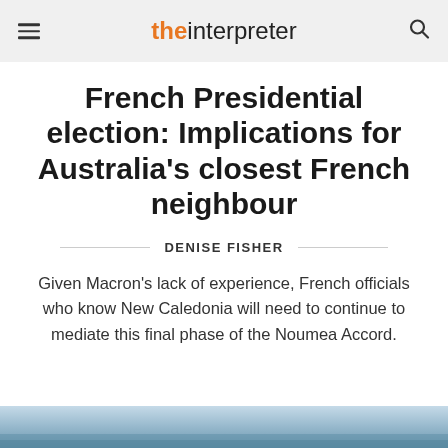the interpreter
French Presidential election: Implications for Australia's closest French neighbour
DENISE FISHER
Given Macron's lack of experience, French officials who know New Caledonia will need to continue to mediate this final phase of the Noumea Accord.
[Figure (photo): Partial photo strip at bottom of page, appears to be a scenic or outdoor photograph]